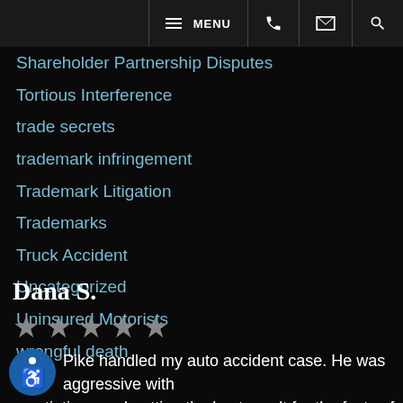MENU
Shareholder Partnership Disputes
Tortious Interference
trade secrets
trademark infringement
Trademark Litigation
Trademarks
Truck Accident
Uncategorized
Uninsured Motorists
wrongful death
Dana S.
[Figure (other): Five grey star rating icons]
Pike handled my auto accident case. He was aggressive with negotiations and getting the best result for the facts of my case. His staff was also very helpful and organized. Very good trial attorney. I would recommend Pike and Justin highly.